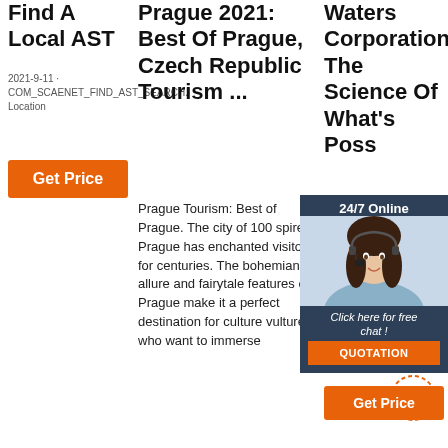Find A Local AST
2021-9-11 · COM_SCAENET_FIND_AST_SEARCH. Location
Get Price
Prague 2021: Best Of Prague, Czech Republic Tourism ...
Prague Tourism: Best of Prague. The city of 100 spires, Prague has enchanted visitors for centuries. The bohemian allure and fairytale features of Prague make it a perfect destination for culture vultures who want to immerse
Waters Corporation: The Science Of What's Possible
Waters comprehensive range of systems, software, services, scientific instruments, Chromatography, Mass Spectrometry. x
[Figure (photo): Chat widget overlay showing a woman with headset, 24/7 Online header, Click here for free chat!, and QUOTATION button]
Get Price